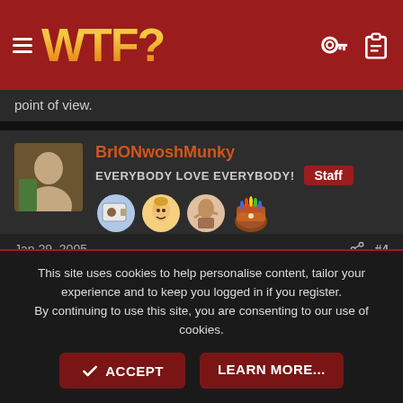WTF?
point of view.
BrIONwoshMunky
EVERYBODY LOVE EVERYBODY! Staff
Jan 29, 2005  #4
Lost86 said:
This site uses cookies to help personalise content, tailor your experience and to keep you logged in if you register.
By continuing to use this site, you are consenting to our use of cookies.